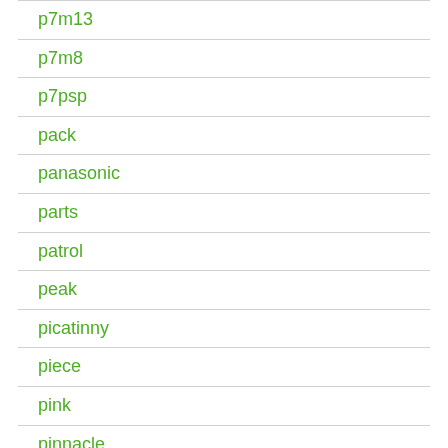p7m13
p7m8
p7psp
pack
panasonic
parts
patrol
peak
picatinny
piece
pink
pinnacle
pioneer